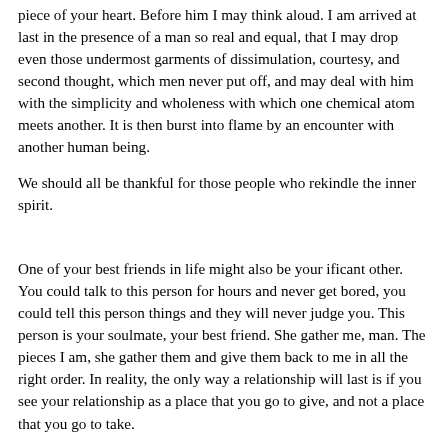piece of your heart. Before him I may think aloud. I am arrived at last in the presence of a man so real and equal, that I may drop even those undermost garments of dissimulation, courtesy, and second thought, which men never put off, and may deal with him with the simplicity and wholeness with which one chemical atom meets another. It is then burst into flame by an encounter with another human being.
We should all be thankful for those people who rekindle the inner spirit.
One of your best friends in life might also be your ificant other. You could talk to this person for hours and never get bored, you could tell this person things and they will never judge you. This person is your soulmate, your best friend. She gather me, man. The pieces I am, she gather them and give them back to me in all the right order. In reality, the only way a relationship will last is if you see your relationship as a place that you go to give, and not a place that you go to take.
For a lasting union, they insist, there must be a genuine liking for each other. Which, in my book, is a good definition for friendship. It is the person that I am in love with that does. The friends you